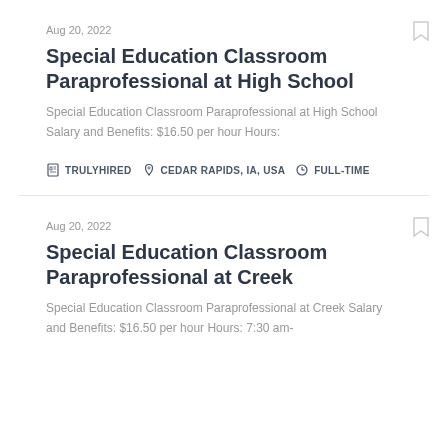Aug 20, 2022
Special Education Classroom Paraprofessional at High School
Special Education Classroom Paraprofessional at High School Salary and Benefits: $16.50 per hour Hours:
TRULYHIRED   CEDAR RAPIDS, IA, USA   FULL-TIME
Aug 20, 2022
Special Education Classroom Paraprofessional at Creek
Special Education Classroom Paraprofessional at Creek Salary and Benefits: $16.50 per hour Hours: 7:30 am-